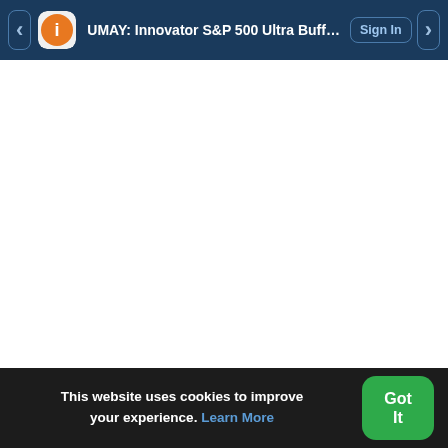UMAY: Innovator S&P 500 Ultra Buffer E  Sign In
This website uses cookies to improve your experience. Learn More
Got It